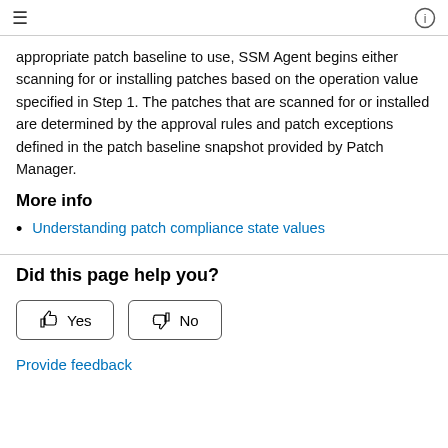≡  ℹ
appropriate patch baseline to use, SSM Agent begins either scanning for or installing patches based on the operation value specified in Step 1. The patches that are scanned for or installed are determined by the approval rules and patch exceptions defined in the patch baseline snapshot provided by Patch Manager.
More info
Understanding patch compliance state values
Did this page help you?
Yes  No
Provide feedback